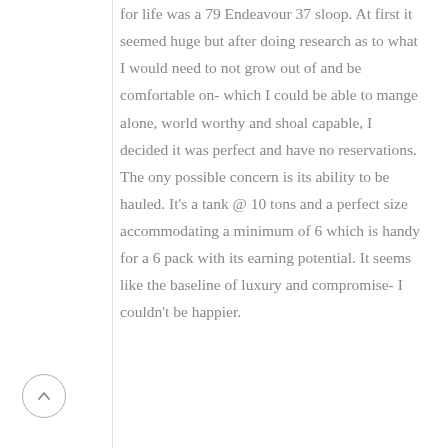for life was a 79 Endeavour 37 sloop. At first it seemed huge but after doing research as to what I would need to not grow out of and be comfortable on- which I could be able to mange alone, world worthy and shoal capable, I decided it was perfect and have no reservations. The ony possible concern is its ability to be hauled. It's a tank @ 10 tons and a perfect size accommodating a minimum of 6 which is handy for a 6 pack with its earning potential. It seems like the baseline of luxury and compromise- I couldn't be happier.